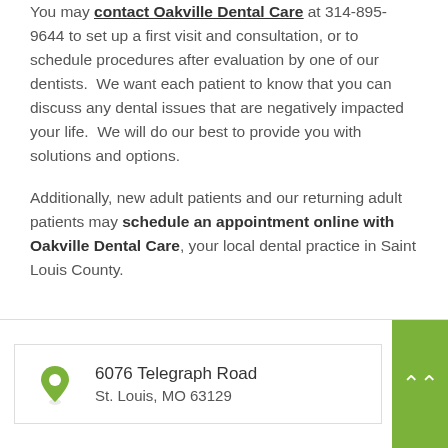You may contact Oakville Dental Care at 314-895-9644 to set up a first visit and consultation, or to schedule procedures after evaluation by one of our dentists. We want each patient to know that you can discuss any dental issues that are negatively impacted your life. We will do our best to provide you with solutions and options.
Additionally, new adult patients and our returning adult patients may schedule an appointment online with Oakville Dental Care, your local dental practice in Saint Louis County.
6076 Telegraph Road
St. Louis, MO 63129